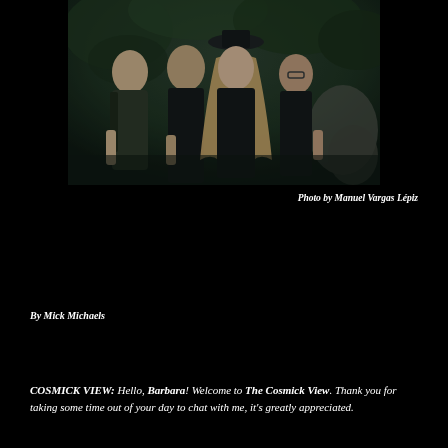[Figure (photo): Band photo of four musicians dressed in black, posed against a forest/rock background. Three men and one woman with long blonde hair in the center wearing a wide-brimmed hat.]
Photo by Manuel Vargas Lépiz
By Mick Michaels
COSMICK VIEW: Hello, Barbara! Welcome to The Cosmick View. Thank you for taking some time out of your day to chat with me, it's greatly appreciated.